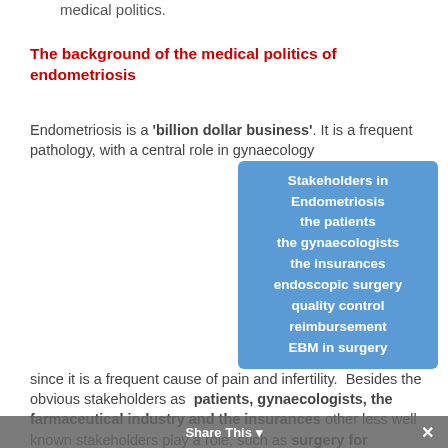medical politics.
The background of the medical politics of endometriosis
Endometriosis is a 'billion dollar business'. It is a frequent pathology, with a central role in gynaecology since it is a frequent cause of pain and infertility. Besides the obvious stakeholders as patients, gynaecologists, the farmaceutical industry and the insurances other less well known stakeholders play a role, such as surgery for endometriosis. The development of endoscopic surgery, and the recognition of the technical difficulty of laparoscopic deep endometriosis surgery is changing the organisation of surgery: whereas endometriosis surgery by laparotomy used to be performed by all gynaecologists, deep endometriosis
[Figure (infographic): Blue box listing stakeholders in endometriosis: the patients, the gynaecologists, the insurances, endoscopic surgery, quality control, reimbursement, EBM in surgery]
Share This ×